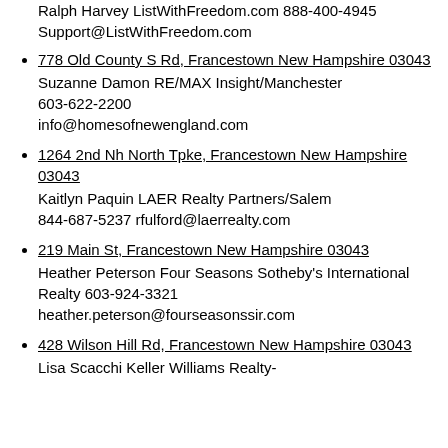Ralph Harvey ListWithFreedom.com 888-400-4945 Support@ListWithFreedom.com
778 Old County S Rd, Francestown New Hampshire 03043
Suzanne Damon RE/MAX Insight/Manchester 603-622-2200 info@homesofnewengland.com
1264 2nd Nh North Tpke, Francestown New Hampshire 03043
Kaitlyn Paquin LAER Realty Partners/Salem 844-687-5237 rfulford@laerrealty.com
219 Main St, Francestown New Hampshire 03043
Heather Peterson Four Seasons Sotheby's International Realty 603-924-3321 heather.peterson@fourseasonssir.com
428 Wilson Hill Rd, Francestown New Hampshire 03043
Lisa Scacchi Keller Williams Realty-